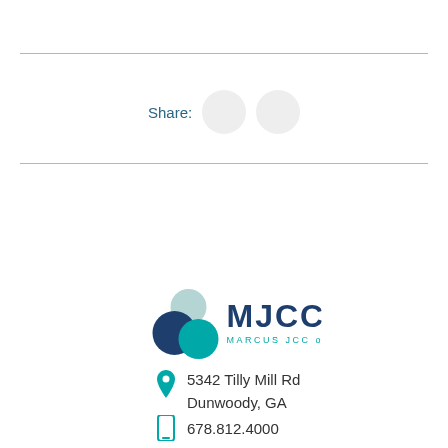Share:
[Figure (logo): MJCCA Marcus JCC of Atlanta logo with overlapping teal and navy circles]
5342 Tilly Mill Rd
Dunwoody, GA
678.812.4000